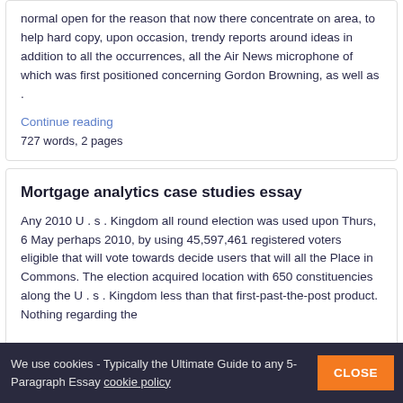normal open for the reason that now there concentrate on area, to help hard copy, upon occasion, trendy reports around ideas in addition to all the occurrences, all the Air News microphone of which was first positioned concerning Gordon Browning, as well as .
Continue reading
727 words, 2 pages
Mortgage analytics case studies essay
Any 2010 U . s . Kingdom all round election was used upon Thurs, 6 May perhaps 2010, by using 45,597,461 registered voters eligible that will vote towards decide users that will all the Place in Commons. The election acquired location with 650 constituencies along the U . s . Kingdom less than that first-past-the-post product. Nothing regarding the
We use cookies - Typically the Ultimate Guide to any 5-Paragraph Essay cookie policy